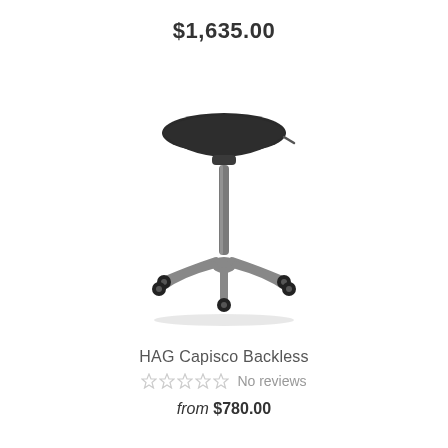$1,635.00
[Figure (photo): HAG Capisco Backless saddle chair with black fabric seat, silver adjustable post, and five-star silver wheeled base, photographed on white background]
HAG Capisco Backless
☆☆☆☆☆ No reviews
from $780.00